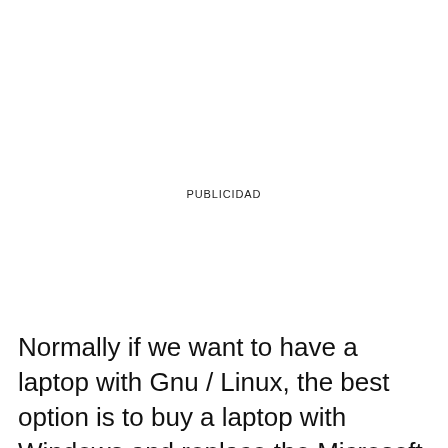PUBLICIDAD
Normally if we want to have a laptop with Gnu / Linux, the best option is to buy a laptop with Windows and replace the Microsoft system with a Gnu / Linux distribution. This is the most plausible option as Apple computers are very expensive and